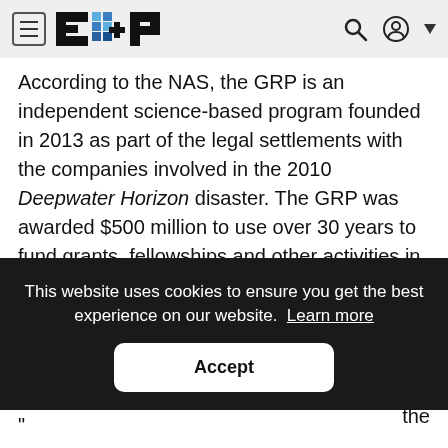E&P (navigation bar with logo, hamburger menu, search and user icons)
According to the NAS, the GRP is an independent science-based program founded in 2013 as part of the legal settlements with the companies involved in the 2010 Deepwater Horizon disaster. The GRP was awarded $500 million to use over 30 years to fund grants, fellowships and other activities in the areas of R&D, education and training, [partially obscured] d. [partially obscured] [partially obscured] the
This website uses cookies to ensure you get the best experience on our website. Learn more
Accept
"[partially visible text]